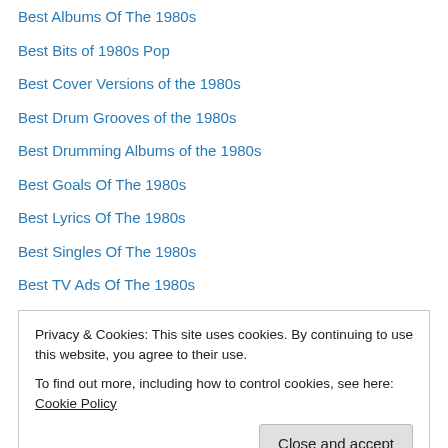Best Albums Of The 1980s
Best Bits of 1980s Pop
Best Cover Versions of the 1980s
Best Drum Grooves of the 1980s
Best Drumming Albums of the 1980s
Best Goals Of The 1980s
Best Lyrics Of The 1980s
Best Singles Of The 1980s
Best TV Ads Of The 1980s
Bill Bruford
Bill Evans
Bill Frisell
Bill Laswell
Privacy & Cookies: This site uses cookies. By continuing to use this website, you agree to their use.
To find out more, including how to control cookies, see here: Cookie Policy
Bonnie Tyler